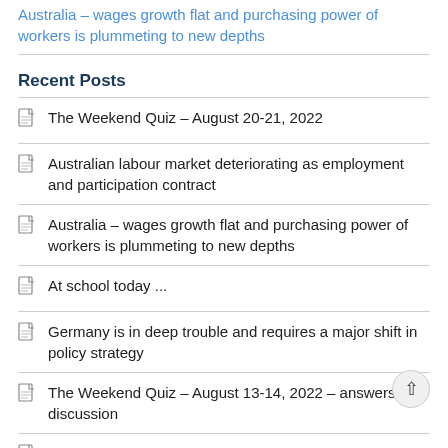Australia – wages growth flat and purchasing power of workers is plummeting to new depths
Recent Posts
The Weekend Quiz – August 20-21, 2022
Australian labour market deteriorating as employment and participation contract
Australia – wages growth flat and purchasing power of workers is plummeting to new depths
At school today ...
Germany is in deep trouble and requires a major shift in policy strategy
The Weekend Quiz – August 13-14, 2022 – answers and discussion
The Weekend Quiz – August 13-14, 2022